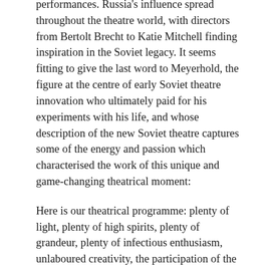performances. Russia's influence spread throughout the theatre world, with directors from Bertolt Brecht to Katie Mitchell finding inspiration in the Soviet legacy. It seems fitting to give the last word to Meyerhold, the figure at the centre of early Soviet theatre innovation who ultimately paid for his experiments with his life, and whose description of the new Soviet theatre captures some of the energy and passion which characterised the work of this unique and game-changing theatrical moment:
Here is our theatrical programme: plenty of light, plenty of high spirits, plenty of grandeur, plenty of infectious enthusiasm, unlaboured creativity, the participation of the audience in the corporate creative act of the performance (in Braun, 2016, p. 211).
On the occasion of the anniversary of 1917, this article is written in tribute to Russia's theatrical experimenters, for whom Revolution promised a new world of artistic possibilities, and whose work has, without a doubt, changed the world.